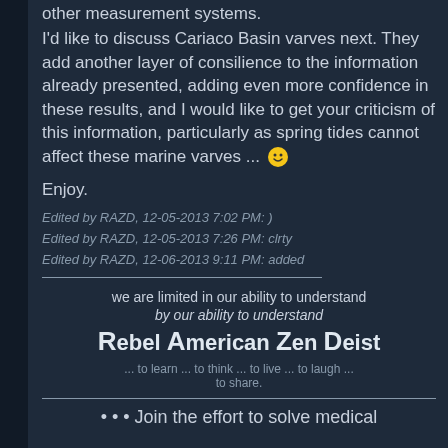other measurement systems.
I'd like to discuss Cariaco Basin varves next. They add another layer of consilience to the information already presented, adding even more confidence in these results, and I would like to get your criticism of this information, particularly as spring tides cannot affect these marine varves ... 🙂
Enjoy.
Edited by RAZD, 12-05-2013 7:02 PM: )
Edited by RAZD, 12-05-2013 7:26 PM: clrty
Edited by RAZD, 12-06-2013 9:11 PM: added
we are limited in our ability to understand by our ability to understand
Rebel American Zen Deist
... to learn ... to think ... to live ... to laugh ...
to share.
• • • Join the effort to solve medical problems AIDS/HIV, Cancer and more with...